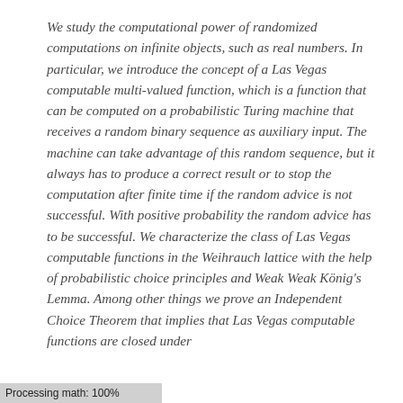We study the computational power of randomized computations on infinite objects, such as real numbers. In particular, we introduce the concept of a Las Vegas computable multi-valued function, which is a function that can be computed on a probabilistic Turing machine that receives a random binary sequence as auxiliary input. The machine can take advantage of this random sequence, but it always has to produce a correct result or to stop the computation after finite time if the random advice is not successful. With positive probability the random advice has to be successful. We characterize the class of Las Vegas computable functions in the Weihrauch lattice with the help of probabilistic choice principles and Weak Weak König's Lemma. Among other things we prove an Independent Choice Theorem that implies that Las Vegas computable functions are closed under
Processing math: 100%